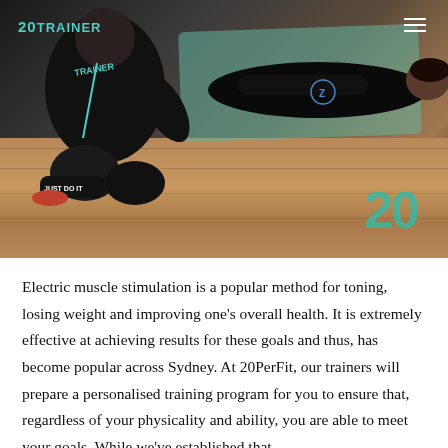[Figure (photo): A personal trainer in a black '20TRAINER' shirt assists a client lying on a green exercise mat on a wooden floor. The trainer is kneeling beside the client. Nike 'Just Do It' text is visible on the trainer's shoe. A teal '20' logo appears in the bottom-right of the image. A hamburger menu icon is in the top-right corner.]
Electric muscle stimulation is a popular method for toning, losing weight and improving one's overall health. It is extremely effective at achieving results for these goals and thus, has become popular across Sydney. At 20PerFit, our trainers will prepare a personalised training program for you to ensure that, regardless of your physicality and ability, you are able to meet your goals. While we've established that